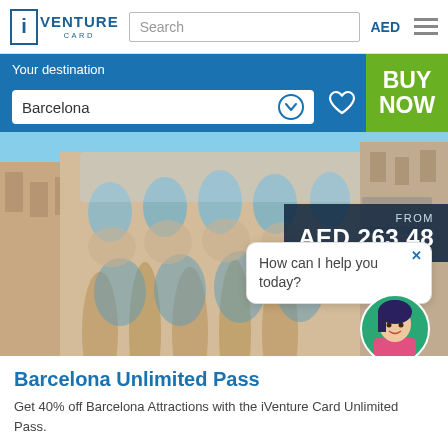iVENTURE CARD | Search | AED
Your destination
Barcelona
BUY NOW
[Figure (photo): Photo of Barcelona Gaudí architectural building (Casa Batlló) with ornate facade, viewed from below against blue sky. Price overlay showing FROM AED 263.48. Chat popup saying 'How can I help you today?' with a chat assistant avatar.]
Barcelona Unlimited Pass
Get 40% off Barcelona Attractions with the iVenture Card Unlimited Pass.